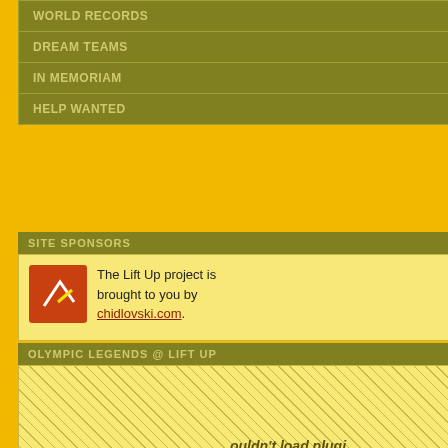WORLD RECORDS
DREAM TEAMS
IN MEMORIAM
HELP WANTED
SITE SPONSORS
The Lift Up project is brought to you by chidlovski.com.
OLYMPIC LEGENDS @ LIFT UP
ouldn't load plugi
P. DIMAS, GREECE
LIFT UP SITE SEARCH
SEARCH THE PROJECT
Weight Class: Super Heavy
More Info On 1955 World C
| RANK | ATHLETE |
| --- | --- |
| 1 | Paul A |
| 2 | James |
| 3 | Eino M |